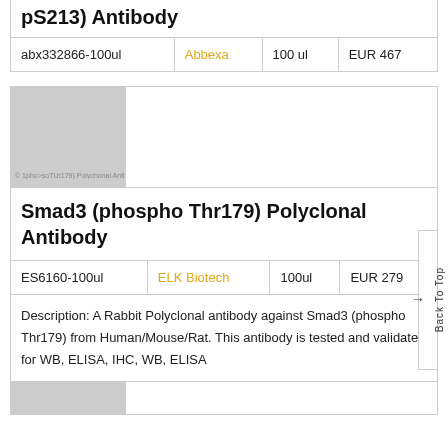pS213) Antibody
| Product ID | Supplier | Size | Price |
| --- | --- | --- | --- |
| abx332866-100ul | Abbexa | 100 ul | EUR 467 |
[Figure (photo): Product image placeholder for Smad3 (phospho Thr179) Polyclonal Antibody]
Smad3 (phospho Thr179) Polyclonal Antibody
| Product ID | Supplier | Size | Price |
| --- | --- | --- | --- |
| ES6160-100ul | ELK Biotech | 100ul | EUR 279 |
Description: A Rabbit Polyclonal antibody against Smad3 (phospho Thr179) from Human/Mouse/Rat. This antibody is tested and validated for WB, ELISA, IHC, WB, ELISA